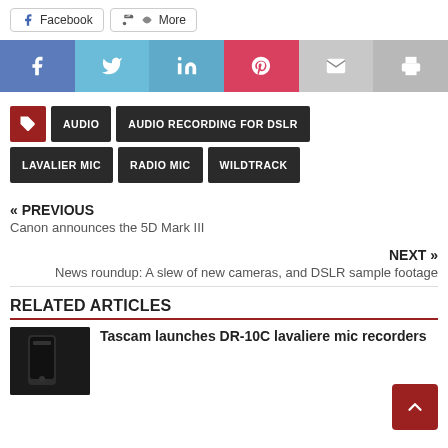[Figure (screenshot): Top share buttons: Facebook and More buttons with icons]
[Figure (infographic): Social share icon bar with Facebook (blue), Twitter (light blue), LinkedIn (teal-blue), Pinterest (red), Email (light gray), Print (gray) icons]
AUDIO
AUDIO RECORDING FOR DSLR
LAVALIER MIC
RADIO MIC
WILDTRACK
« PREVIOUS
Canon announces the 5D Mark III
NEXT »
News roundup: A slew of new cameras, and DSLR sample footage
RELATED ARTICLES
Tascam launches DR-10C lavaliere mic recorders